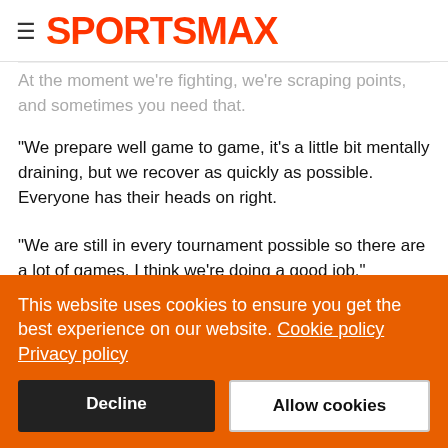SPORTSMAX
At the moment we're fighting, we're scraping points, and sometimes you need that.
"We prepare well game to game, it's a little bit mentally draining, but we recover as quickly as possible. Everyone has their heads on right.
"We are still in every tournament possible so there are a lot of games. I think we're doing a good job."
Only Mason Mount (2.51) and Ross Barkley (3.57), who has
This website uses cookies to ensure you get the best experience on our website. Cookie policy
Privacy policy
Decline
Allow cookies